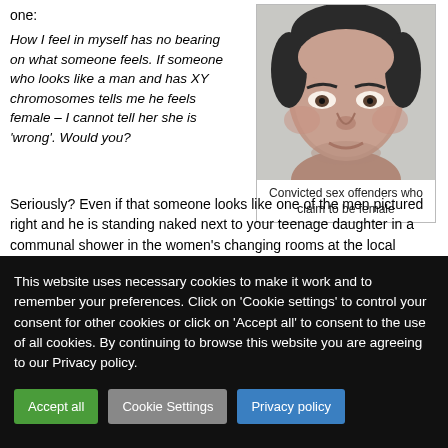one:
How I feel in myself has no bearing on what someone feels. If someone who looks like a man and has XY chromosomes tells me he feels female – I cannot tell her she is 'wrong'. Would you?
[Figure (photo): Mugshot photograph of a middle-aged heavyset man with short dark hair, looking directly at camera against a pale background.]
Convicted sex offenders who claim to be female
Seriously? Even if that someone looks like one of the men pictured right and he is standing naked next to your teenage daughter in a communal shower in the women's changing rooms at the local swimming pool?
This website uses necessary cookies to make it work and to remember your preferences. Click on 'Cookie settings' to control your consent for other cookies or click on 'Accept all' to consent to the use of all cookies. By continuing to browse this website you are agreeing to our Privacy policy.